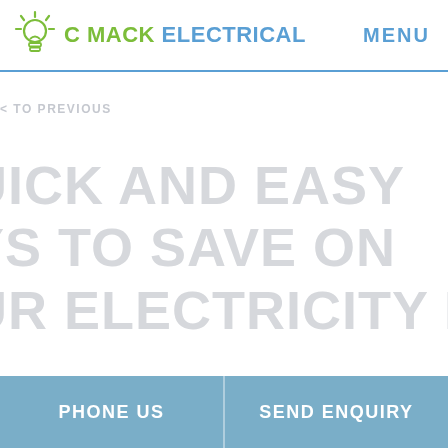C MACK ELECTRICAL    MENU
BACK TO PREVIOUS
QUICK AND EASY WAYS TO SAVE ON YOUR ELECTRICITY BILL
PHONE US    SEND ENQUIRY